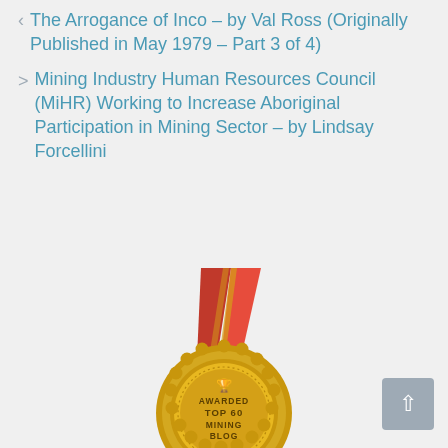The Arrogance of Inco – by Val Ross (Originally Published in May 1979 – Part 3 of 4)
Mining Industry Human Resources Council (MiHR) Working to Increase Aboriginal Participation in Mining Sector – by Lindsay Forcellini
[Figure (illustration): Gold medal with red and gold ribbon/lanyard. The medal reads: AWARDED TOP 60 MINING BLOG with a trophy icon at the top.]